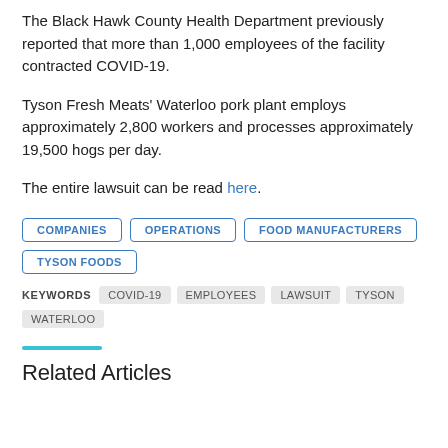The Black Hawk County Health Department previously reported that more than 1,000 employees of the facility contracted COVID-19.
Tyson Fresh Meats' Waterloo pork plant employs approximately 2,800 workers and processes approximately 19,500 hogs per day.
The entire lawsuit can be read here.
COMPANIES
OPERATIONS
FOOD MANUFACTURERS
TYSON FOODS
KEYWORDS  COVID-19  EMPLOYEES  LAWSUIT  TYSON  WATERLOO
Related Articles